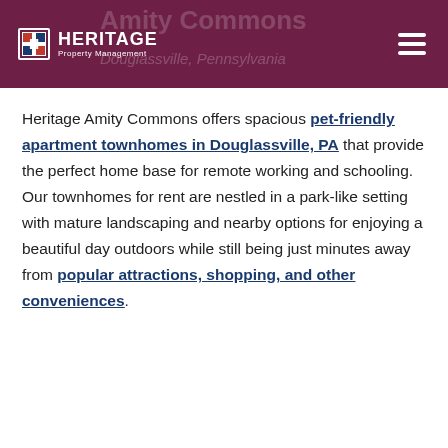Heritage Property Management — Amity Commons, Douglassville, Pennsylvania
Heritage Amity Commons offers spacious pet-friendly apartment townhomes in Douglassville, PA that provide the perfect home base for remote working and schooling. Our townhomes for rent are nestled in a park-like setting with mature landscaping and nearby options for enjoying a beautiful day outdoors while still being just minutes away from popular attractions, shopping, and other conveniences.